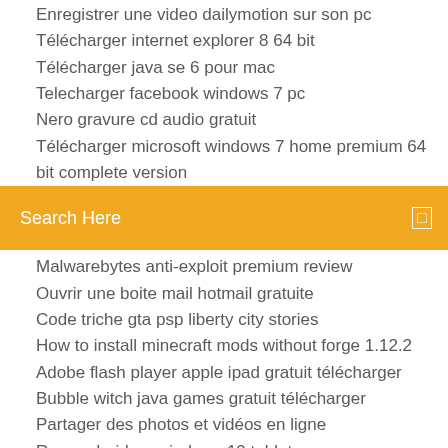Enregistrer une video dailymotion sur son pc
Télécharger internet explorer 8 64 bit
Télécharger java se 6 pour mac
Telecharger facebook windows 7 pc
Nero gravure cd audio gratuit
Télécharger microsoft windows 7 home premium 64 bit complete version
[Figure (other): Orange search bar with text 'Search Here' and a small square icon on the right]
Malwarebytes anti-exploit premium review
Ouvrir une boite mail hotmail gratuite
Code triche gta psp liberty city stories
How to install minecraft mods without forge 1.12.2
Adobe flash player apple ipad gratuit télécharger
Bubble witch java games gratuit télécharger
Partager des photos et vidéos en ligne
Run android on windows 10 tablet
Dynasty warriors 8 xtreme legends pc multiplayer
Programme tele avec tele loisir